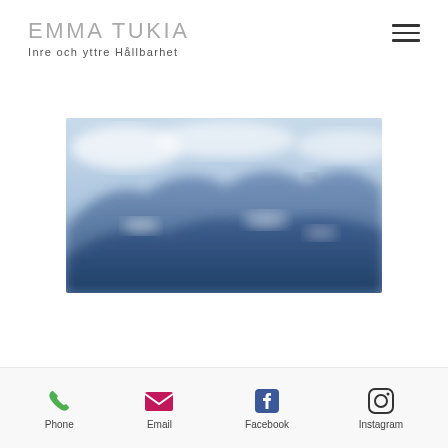EMMA TUKIA
Inre och yttre Hållbarhet
[Figure (photo): Blurred landscape photo of mountains and sky in blue tones, with paragliders visible in the distance]
Phone
Email
Facebook
Instagram